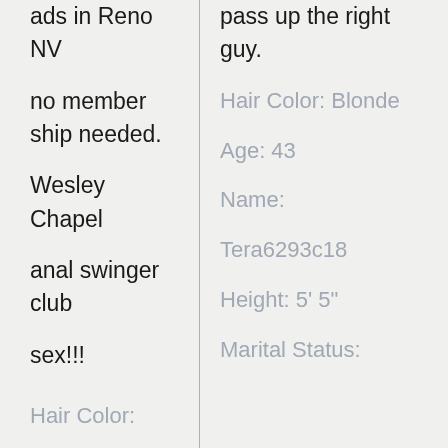ads in Reno NV

no member ship

needed.

Wesley Chapel

anal swinger club

sex!!!
Hair Color:
Chestnut
pass up the right guy.
Hair Color: Blonde
Age: 43
Name:
Tera6293c18
Height: 5' 5"
Marital Status: